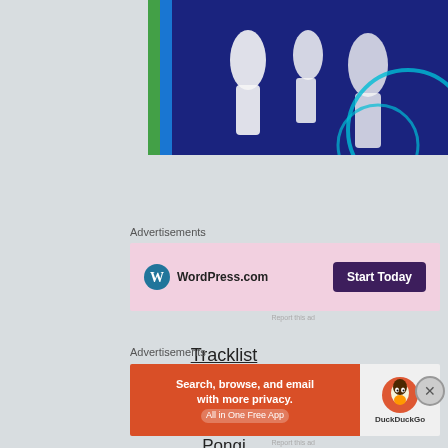[Figure (photo): Partial view of an album or book cover with dark blue background, white figures, and teal circular design elements]
Advertisements
[Figure (other): WordPress.com advertisement banner with pink background showing WordPress logo and 'Start Today' button]
Tracklist
Kamulangu
Nangadeef
Hal 99
Pongi
Moni Mambo
What We Need
Advertisements
[Figure (other): DuckDuckGo advertisement banner with orange left panel saying 'Search, browse, and email with more privacy. All in One Free App' and dark right panel with DuckDuckGo duck logo]